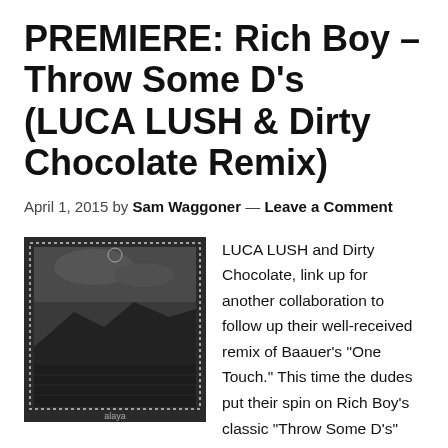PREMIERE: Rich Boy – Throw Some D's (LUCA LUSH & Dirty Chocolate Remix)
April 1, 2015 by Sam Waggoner — Leave a Comment
[Figure (photo): Black and white album artwork showing a landscape with mountains/hills and a body of water, framed with a dotted border, small text at bottom reading 'alaya']
LUCA LUSH and Dirty Chocolate, link up for another collaboration to follow up their well-received remix of Baauer's "One Touch." This time the dudes put their spin on Rich Boy's classic "Throw Some D's" and wanted the RTT faithful to hear it first. The track is one of many great tracks featured on alaya. issue 02. The two leave the vocals in tact while adding some